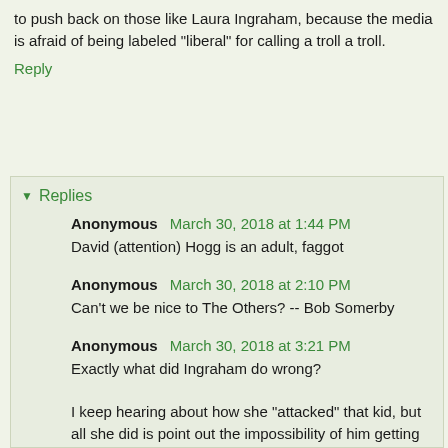to push back on those like Laura Ingraham, because the media is afraid of being labeled "liberal" for calling a troll a troll.
Reply
Replies
Anonymous March 30, 2018 at 1:44 PM
David (attention) Hogg is an adult, faggot
Anonymous March 30, 2018 at 2:10 PM
Can't we be nice to The Others? -- Bob Somerby
Anonymous March 30, 2018 at 3:21 PM
Exactly what did Ingraham do wrong?

I keep hearing about how she "attacked" that kid, but all she did is point out the impossibility of him getting into UC to begin with. She NEVER ridiculed his GPA.